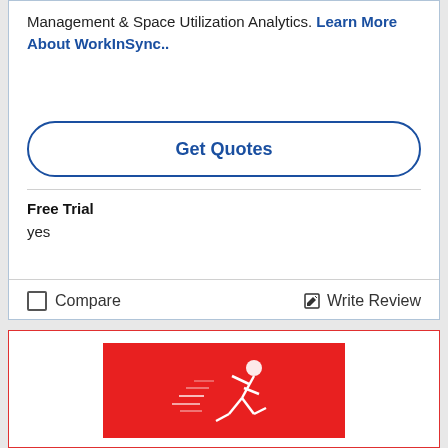Management & Space Utilization Analytics. Learn More About WorkInSync..
Get Quotes
Free Trial
yes
Compare
Write Review
[Figure (logo): Red square logo with white running/sprinting figure illustration with motion lines, representing a sports or fitness brand.]